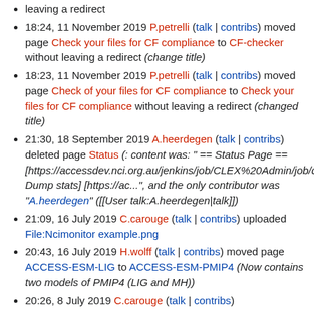leaving a redirect
18:24, 11 November 2019 P.petrelli (talk | contribs) moved page Check your files for CF compliance to CF-checker without leaving a redirect (change title)
18:23, 11 November 2019 P.petrelli (talk | contribs) moved page Check of your files for CF compliance to Check your files for CF compliance without leaving a redirect (changed title)
21:30, 18 September 2019 A.heerdegen (talk | contribs) deleted page Status (: content was: " == Status Page == [https://accessdev.nci.org.au/jenkins/job/CLEX%20Admin/job/dump_stats/ Dump stats] [https://ac...", and the only contributor was "A.heerdegen" ([[User talk:A.heerdegen|talk]])
21:09, 16 July 2019 C.carouge (talk | contribs) uploaded File:Ncimonitor example.png
20:43, 16 July 2019 H.wolff (talk | contribs) moved page ACCESS-ESM-LIG to ACCESS-ESM-PMIP4 (Now contains two models of PMIP4 (LIG and MH))
20:26, 8 July 2019 C.carouge (talk | contribs)